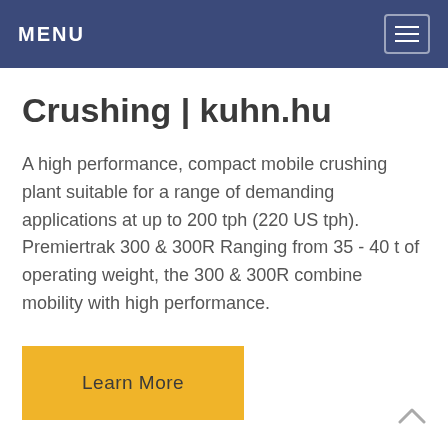MENU
Crushing | kuhn.hu
A high performance, compact mobile crushing plant suitable for a range of demanding applications at up to 200 tph (220 US tph). Premiertrak 300 & 300R Ranging from 35 - 40 t of operating weight, the 300 & 300R combine mobility with high performance.
Learn More